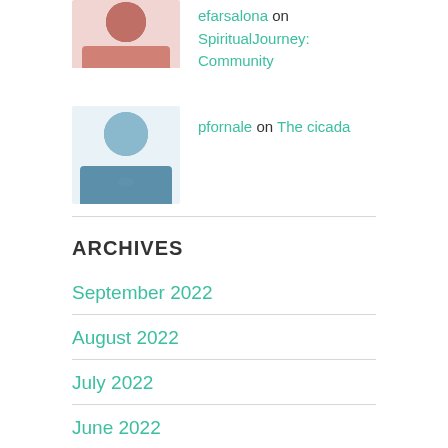[Figure (photo): Profile photo of a woman with dark hair and glasses]
pfornale on The cicada
[Figure (photo): Profile photo of a man with beard wearing a blue shirt]
ARCHIVES
September 2022
August 2022
July 2022
June 2022
May 2022